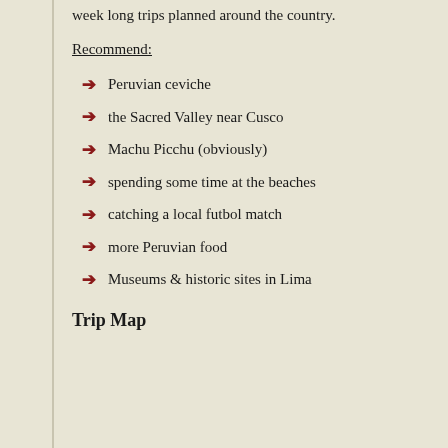week long trips planned around the country.
Recommend:
Peruvian ceviche
the Sacred Valley near Cusco
Machu Picchu (obviously)
spending some time at the beaches
catching a local futbol match
more Peruvian food
Museums & historic sites in Lima
Trip Map